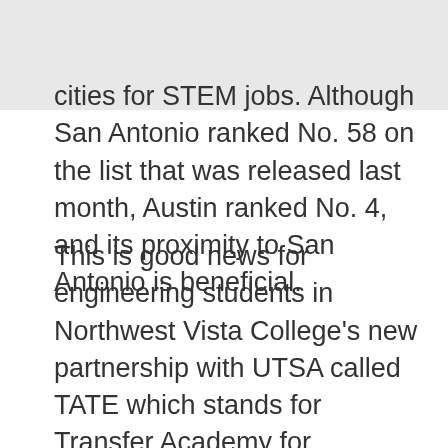cities for STEM jobs. Although San Antonio ranked No. 58 on the list that was released last month, Austin ranked No. 4, and its proximity to San Antonio is beneficial.
This is good news for engineering students in Northwest Vista College's new partnership with UTSA called TATE which stands for Transfer Academy for Tomorrow's Engineers program. It allows NVC students to co-enroll at both institutions and take engineering courses taught by UTSA and NVC faculty. Upon completion of the NVC component and an